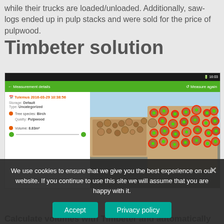while their trucks are loaded/unloaded. Additionally, saw-logs ended up in pulp stacks and were sold for the price of pulpwood.
Timbeter solution
[Figure (screenshot): Mobile app screenshot showing Timbeter measurement details with a photo of a log stack. The app shows: Tulemus 2016-03-29 10:38:56, Storage: Default, Type: Uncategorized, Tree species: Birch, Quality: Pulpwood, Volume: 8.83m³. The right side shows a photo of a log pile with red and green circular markers overlaid on the logs for measurement.]
We use cookies to ensure that we give you the best experience on our website. If you continue to use this site we will assume that you are happy with it.
Calculate volumes with Timbeter and automatically